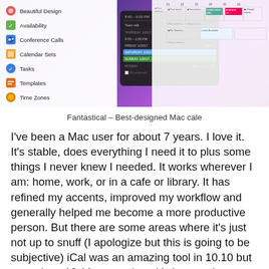[Figure (screenshot): Screenshot of Fantastical calendar app showing feature list on left (Beautiful Design, Availability, Conference Calls, Calendar Sets, Tasks, Templates, Time Zones, Weather) and calendar/dropdown views on right with purple gradient background]
Fantastical  – Best-designed Mac cale
I've been a Mac user for about 7 years. I love it. It's stable, does everything I need it to plus some things I never knew I needed. It works wherever I am: home, work, or in a cafe or library. It has refined my accents, improved my workflow and generally helped me become a more productive person. But there are some areas where it's just not up to snuff (I apologize but this is going to be subjective) iCal was an amazing tool in 10.10 but ever since 10.11 came along it's been quite subpar. But if you're